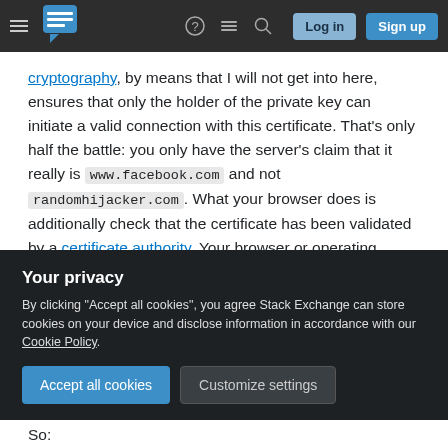Stack Exchange navigation bar with hamburger menu, logo, help, chat, search icons, Log in and Sign up buttons
cryptography, by means that I will not get into here, ensures that only the holder of the private key can initiate a valid connection with this certificate. That's only half the battle: you only have the server's claim that it really is www.facebook.com and not randomhijacker.com . What your browser does is additionally check that the certificate has been validated by a certificate authority. Your browser or operating system comes with a list of certificate authorities that it trusts. Again, public-key cryptography ensures that only the CA can emit
Your privacy
By clicking "Accept all cookies", you agree Stack Exchange can store cookies on your device and disclose information in accordance with our Cookie Policy.
Accept all cookies  Customize settings
So: